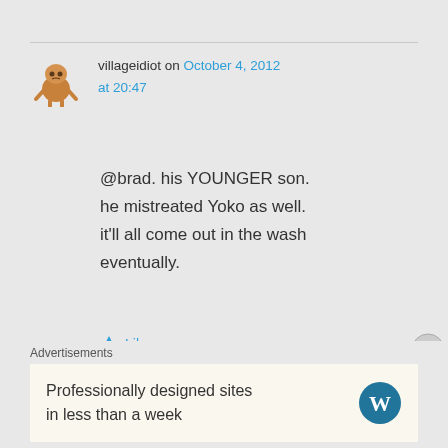villageidiot on October 4, 2012 at 20:47
@brad. his YOUNGER son. he mistreated Yoko as well. it'll all come out in the wash eventually.
★ Like
Jon Hanna on October 4, 2012
Advertisements
Professionally designed sites in less than a week